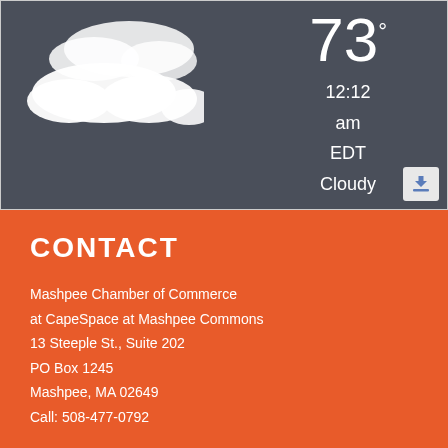[Figure (screenshot): Weather widget screenshot showing clouds image on dark background with temperature 73°, time 12:12 am, timezone EDT, and condition Cloudy]
CONTACT
Mashpee Chamber of Commerce
at CapeSpace at Mashpee Commons
13 Steeple St., Suite 202
PO Box 1245
Mashpee, MA 02649
Call: 508-477-0792